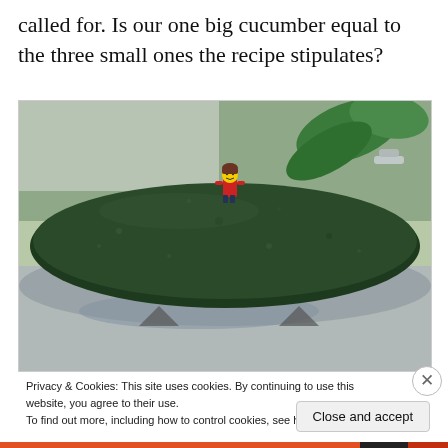called for. Is our one big cucumber equal to the three small ones the recipe stipulates?
[Figure (photo): A large dark green cucumber resting in a stainless steel bowl with a small LEGO minifigure (brown-haired woman in red) perched on top of the cucumber. Green plant leaves visible in background.]
Privacy & Cookies: This site uses cookies. By continuing to use this website, you agree to their use.
To find out more, including how to control cookies, see here: Cookie Policy
Close and accept